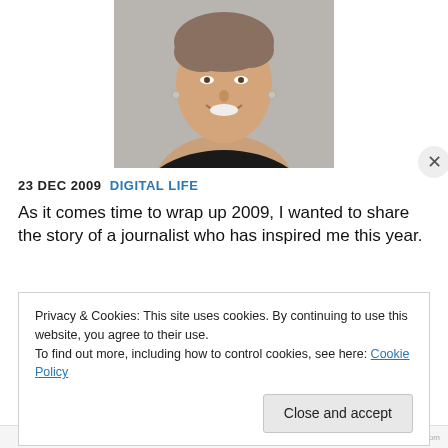[Figure (photo): Headshot portrait of a smiling middle-aged woman with short light brown hair, wearing a black top, against a grey background.]
23 DEC 2009 DIGITAL LIFE
As it comes time to wrap up 2009, I wanted to share the story of a journalist who has inspired me this year.
Privacy & Cookies: This site uses cookies. By continuing to use this website, you agree to their use.
To find out more, including how to control cookies, see here: Cookie Policy